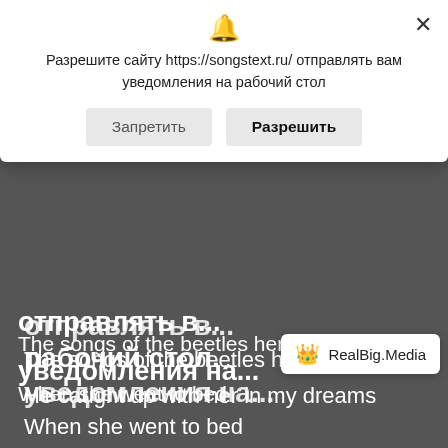[Figure (screenshot): A browser notification permission dialog overlay on a dark song lyrics page from songstext.ru. The dialog asks to allow notifications. Below the dialog, lyrics in white text on dark background are visible, along with a RealBig.Media badge.]
Разрешите сайту https://songstext.ru/ отправлять вам уведомления на рабочий стол
Запретить
Разрешить
отправлять в...
уведомления на...
рабочий стол.
The songs of the beetles here,
When she went to bed
He caught up with her in my dreams
A handsome young man with a flower
Verse: Date
I and your cat
Heat your bed